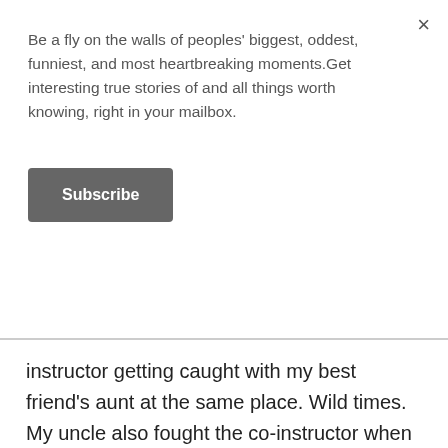Be a fly on the walls of peoples' biggest, oddest, funniest, and most heartbreaking moments.Get interesting true stories of and all things worth knowing, right in your mailbox.
Subscribe
instructor getting caught with my best friend's aunt at the same place. Wild times. My uncle also fought the co-instructor when he was younger gotta love small towns.
whcrawler